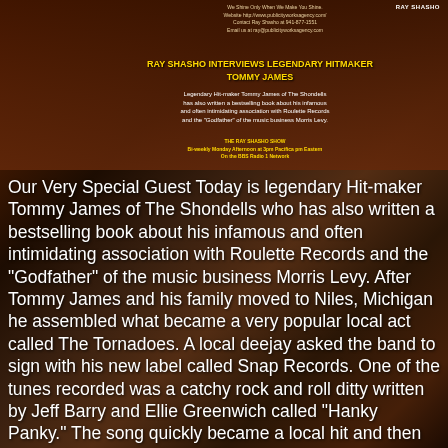RAY SHASHO INTERVIEWS LEGENDARY HITMAKER TOMMY JAMES
We Shine Only When We Make You Shine. Website http://www.publicityworksagency.com/ Contact Ray Shasho at 941-877-1551 Email us at ray@publicityworksagency.com
Legendary Hit-maker Tommy James of The Shondells has also written a bestselling book about his infamous and often intimidating association with Roulette Records and the "Godfather" of the music business Morris Levy.
THE RAY SHASHO SHOW Bi-weekly Monday Afternoon at 3pm Pacifica pm Eastern On the BBS Radio 1 Network
Our Very Special Guest Today is legendary Hit-maker Tommy James of The Shondells who has also written a bestselling book about his infamous and often intimidating association with Roulette Records and the “Godfather” of the music business Morris Levy. After Tommy James and his family moved to Niles, Michigan he assembled what became a very popular local act called The Tornadoes. A local deejay asked the band to sign with his new label called Snap Records. One of the tunes recorded was a catchy rock and roll ditty written by Jeff Barry and Ellie Greenwich called “Hanky Panky.” The song quickly became a local hit and then rapidly faded away into oblivion.